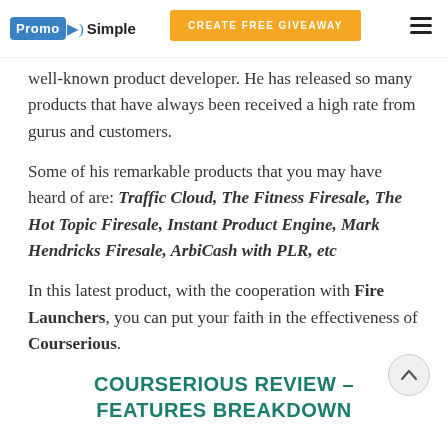PromoSimple | CREATE FREE GIVEAWAY
well-known product developer. He has released so many products that have always been received a high rate from gurus and customers.
Some of his remarkable products that you may have heard of are: Traffic Cloud, The Fitness Firesale, The Hot Topic Firesale, Instant Product Engine, Mark Hendricks Firesale, ArbiCash with PLR, etc
In this latest product, with the cooperation with Fire Launchers, you can put your faith in the effectiveness of Courserious.
COURSERIOUS REVIEW – FEATURES BREAKDOWN